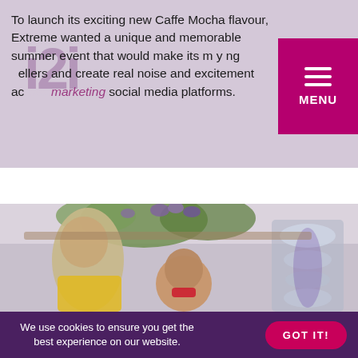i2i
To launch its exciting new Caffe Mocha flavour, Extreme wanted a unique and memorable summer event that would make its marketing young at, dwellers and create real noise and excitement across social media platforms.
[Figure (photo): Two people smiling at an event under a decorated canopy with flowers and greenery; a decorative glass fountain or display is visible on the right.]
We use cookies to ensure you get the best experience on our website.